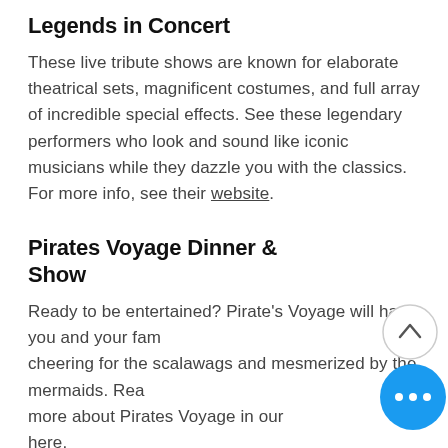Legends in Concert
These live tribute shows are known for elaborate theatrical sets, magnificent costumes, and full array of incredible special effects. See these legendary performers who look and sound like iconic musicians while they dazzle you with the classics. For more info, see their website.
Pirates Voyage Dinner & Show
Ready to be entertained? Pirate's Voyage will have you and your family cheering for the scalawags and mesmerized by the mermaids. Read more about Pirates Voyage in our here.